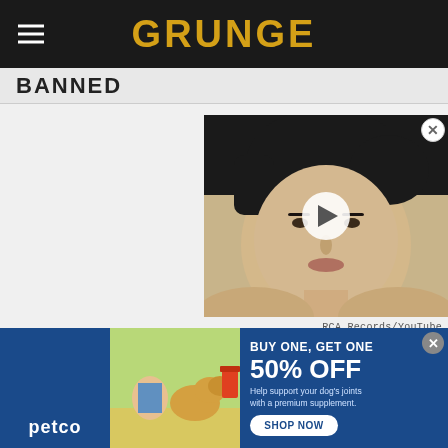GRUNGE
BANNED
[Figure (photo): Video thumbnail showing a person with short dark hair, with a play button overlay. Close button in upper right corner.]
RCA Records/YouTube
In 2003, Foo Fighters released "Low," the hard-charging...
[Figure (photo): Petco advertisement banner. BUY ONE, GET ONE 50% OFF. Help support your dog's joints with a premium supplement. SHOP NOW button. Shows person with a golden retriever dog and supplement product.]